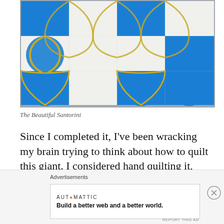[Figure (photo): A quilted blanket with a blue, white, and gold Moroccan/Santorini geometric pattern hanging or laid out, photographed indoors.]
The Beautiful Santorini
Since I completed it, I've been wracking my brain trying to think about how to quilt this giant. I considered hand quilting it, then I thought I would outsource it to a Longarm
Advertisements
AUTOMATTIC
Build a better web and a better world.